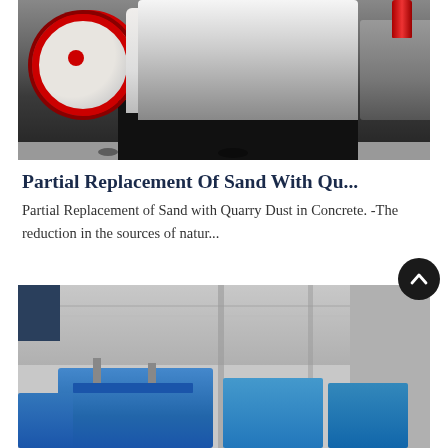[Figure (photo): Industrial stone crusher machine with large red and white flywheel on left, red hydraulic cylinders on top center, white body, black steel frame at bottom, concrete factory floor.]
Partial Replacement Of Sand With Qu...
Partial Replacement of Sand with Quarry Dust in Concrete. -The reduction in the sources of natur...
[Figure (photo): Industrial facility interior with large blue machinery/pumps on the floor, structural steel columns, corrugated roof, concrete walls.]